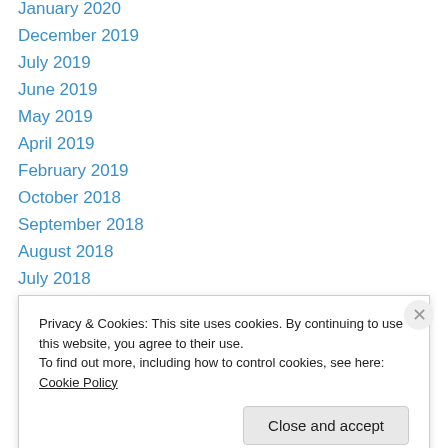January 2020
December 2019
July 2019
June 2019
May 2019
April 2019
February 2019
October 2018
September 2018
August 2018
July 2018
June 2018
May 2018
April 2018
Privacy & Cookies: This site uses cookies. By continuing to use this website, you agree to their use.
To find out more, including how to control cookies, see here: Cookie Policy